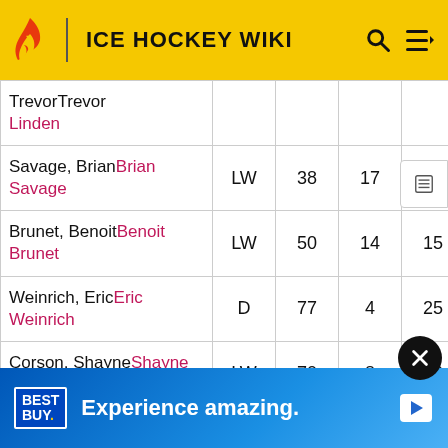ICE HOCKEY WIKI
| Player | Pos | GP | G | A | Pts |
| --- | --- | --- | --- | --- | --- |
| Trevor Linden |  |  |  |  |  |
| Savage, Brian Brian Savage | LW | 38 | 17 | 12 | 29 |
| Brunet, Benoit Benoit Brunet | LW | 50 | 14 | 15 | 29 |
| Weinrich, Eric Eric Weinrich | D | 77 | 4 | 25 | 29 |
| Corson, Shayne Shayne Corson | LW | 70 | 8 | 20 | 28 |
| Petrov... Petrov... |  |  |  |  | 6... |